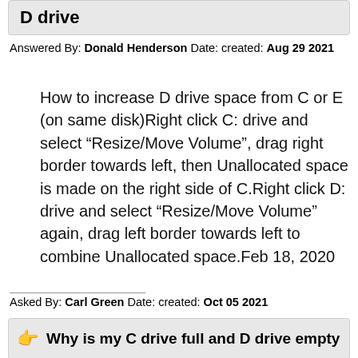D drive
Answered By: Donald Henderson Date: created: Aug 29 2021
How to increase D drive space from C or E (on same disk)Right click C: drive and select “Resize/Move Volume”, drag right border towards left, then Unallocated space is made on the right side of C.Right click D: drive and select “Resize/Move Volume” again, drag left border towards left to combine Unallocated space.Feb 18, 2020
Asked By: Carl Green Date: created: Oct 05 2021
Why is my C drive full and D drive empty